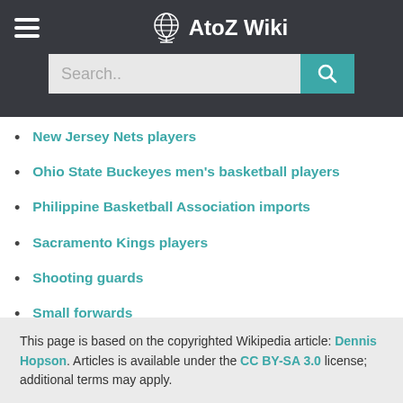AtoZ Wiki
New Jersey Nets players
Ohio State Buckeyes men's basketball players
Philippine Basketball Association imports
Sacramento Kings players
Shooting guards
Small forwards
Sportspeople from Toledo, Ohio
This page is based on the copyrighted Wikipedia article: Dennis Hopson. Articles is available under the CC BY-SA 3.0 license; additional terms may apply.